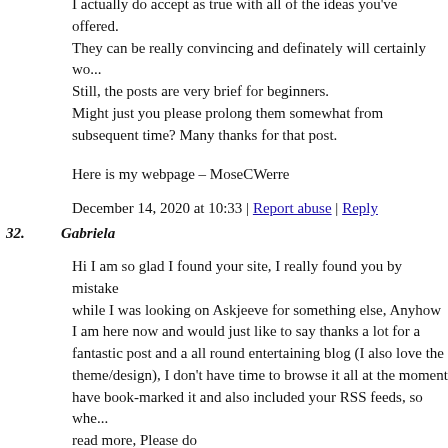I actually do accept as true with all of the ideas you've offered. They can be really convincing and definately will certainly wo... Still, the posts are very brief for beginners. Might just you please prolong them somewhat from subsequent time? Many thanks for that post.
Here is my webpage – MoseCWerre
December 14, 2020 at 10:33 | Report abuse | Reply
32. Gabriela
Hi I am so glad I found your site, I really found you by mistake while I was looking on Askjeeve for something else, Anyhow I am here now and would just like to say thanks a lot for a fantastic post and a all round entertaining blog (I also love the theme/design), I don't have time to browse it all at the moment have book-marked it and also included your RSS feeds, so whe... read more, Please do keep up the superb job.
Feel free to surf to my web page :: JefferyTBoge
December 14, 2020 at 15:55 | Report abuse | Reply
33. Parthenia
Touche. Outstanding arguments. Keep up the amazing work.